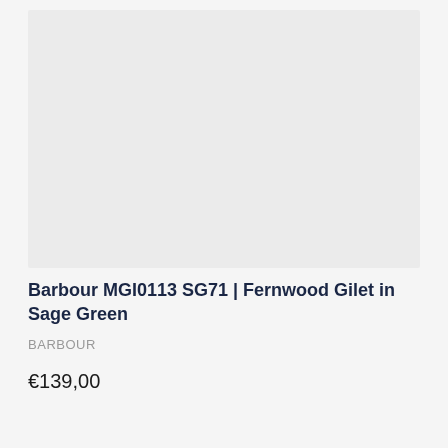[Figure (photo): Product image placeholder — light gray rectangle representing a product photo area for the Barbour Fernwood Gilet in Sage Green]
Barbour MGI0113 SG71 | Fernwood Gilet in Sage Green
BARBOUR
€139,00